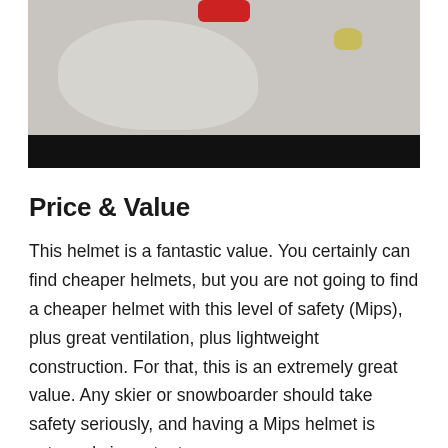[Figure (photo): Close-up photo of a white ski/snowboard helmet interior showing padding and a yellow retention system component, with a red logo/label at the top and a black bar at the bottom of the image frame.]
Price & Value
This helmet is a fantastic value. You certainly can find cheaper helmets, but you are not going to find a cheaper helmet with this level of safety (Mips), plus great ventilation, plus lightweight construction. For that, this is an extremely great value. Any skier or snowboarder should take safety seriously, and having a Mips helmet is extremely important.